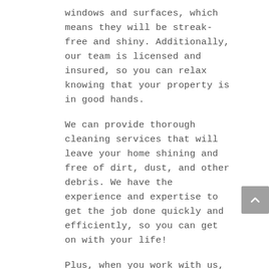windows and surfaces, which means they will be streak-free and shiny. Additionally, our team is licensed and insured, so you can relax knowing that your property is in good hands.
We can provide thorough cleaning services that will leave your home shining and free of dirt, dust, and other debris. We have the experience and expertise to get the job done quickly and efficiently, so you can get on with your life!
Plus, when you work with us, you can rest assured knowing that all of our work is backed by a 100% satisfaction guarantee. We want you to be happy with the results of our services, so if for any reason you're not satisfied, let us know and we'll make it